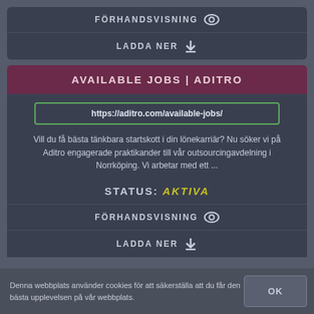FÖRHANDSVISNING
LADDA NER
AVAILABLE JOBS | ADITRO
https://aditro.com/available-jobs/
Vill du få bästa tänkbara startskott i din lönekarriär? Nu söker vi på Aditro engagerade praktikander till vår outsourcingavdelning i Norrköping. Vi arbetar med ett ...
STATUS: AKTIVA
FÖRHANDSVISNING
LADDA NER
Denna webbplats använder cookies för att säkerställa att du får den bästa upplevelsen på vår webbplats.